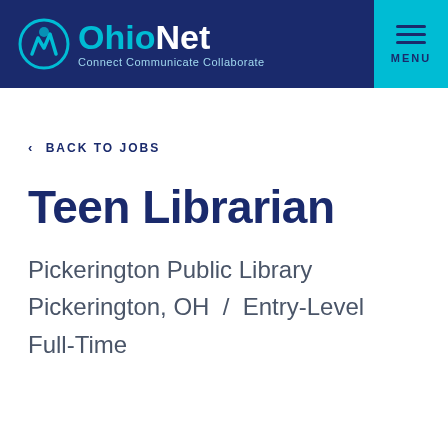OhioNet Connect Communicate Collaborate MENU
< BACK TO JOBS
Teen Librarian
Pickerington Public Library
Pickerington, OH  /  Entry-Level
Full-Time